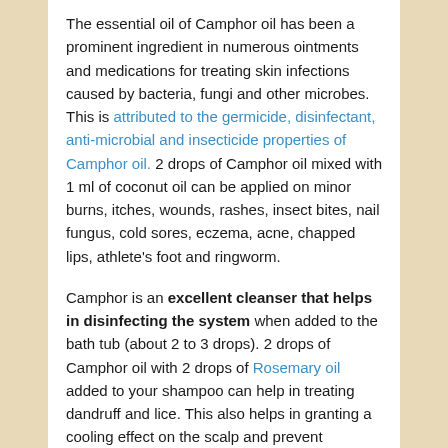The essential oil of Camphor oil has been a prominent ingredient in numerous ointments and medications for treating skin infections caused by bacteria, fungi and other microbes. This is attributed to the germicide, disinfectant, anti-microbial and insecticide properties of Camphor oil. 2 drops of Camphor oil mixed with 1 ml of coconut oil can be applied on minor burns, itches, wounds, rashes, insect bites, nail fungus, cold sores, eczema, acne, chapped lips, athlete's foot and ringworm.
Camphor is an excellent cleanser that helps in disinfecting the system when added to the bath tub (about 2 to 3 drops). 2 drops of Camphor oil with 2 drops of Rosemary oil added to your shampoo can help in treating dandruff and lice. This also helps in granting a cooling effect on the scalp and prevent unnecessary hair fall due to dandruff and lice.
3. Supports digestive functions:
Being a carminative, Camphor oil works wonders in